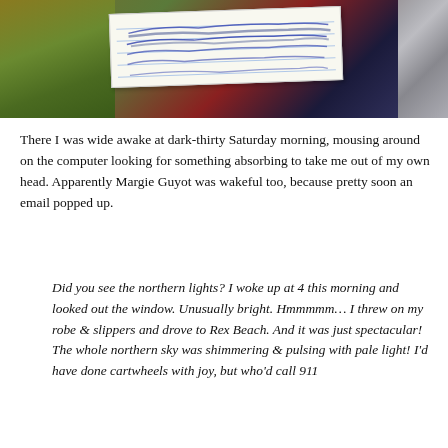[Figure (photo): Close-up photo showing moss/lichen, red berries or plants, dark background, with a white lined note paper containing blue pen scribbles placed on top. A silver/metallic bag or surface is visible on the right edge.]
There I was wide awake at dark-thirty Saturday morning, mousing around on the computer looking for something absorbing to take me out of my own head. Apparently Margie Guyot was wakeful too, because pretty soon an email popped up.
Did you see the northern lights? I woke up at 4 this morning and looked out the window. Unusually bright. Hmmmmm… I threw on my robe & slippers and drove to Rex Beach. And it was just spectacular! The whole northern sky was shimmering & pulsing with pale light! I'd have done cartwheels with joy, but who'd call 911